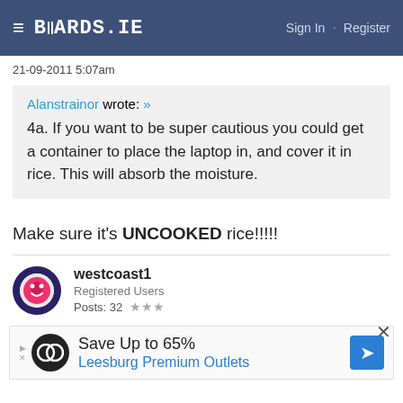BOARDS.IE  Sign In · Register
21-09-2011 5:07am
Alanstrainor wrote: »
4a. If you want to be super cautious you could get a container to place the laptop in, and cover it in rice. This will absorb the moisture.
Make sure it's UNCOOKED rice!!!!!
westcoast1
Registered Users
Posts: 32  ★★★
[Figure (screenshot): Advertisement banner: Save Up to 65% Leesburg Premium Outlets]